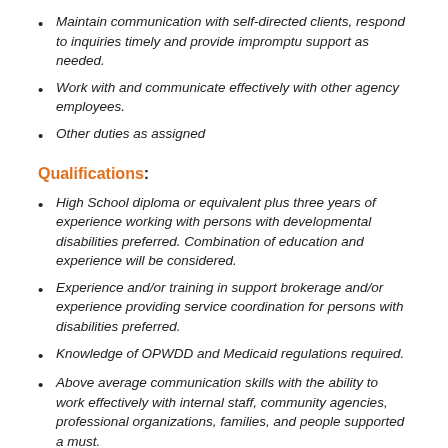Maintain communication with self-directed clients, respond to inquiries timely and provide impromptu support as needed.
Work with and communicate effectively with other agency employees.
Other duties as assigned
Qualifications:
High School diploma or equivalent plus three years of experience working with persons with developmental disabilities preferred. Combination of education and experience will be considered.
Experience and/or training in support brokerage and/or experience providing service coordination for persons with disabilities preferred.
Knowledge of OPWDD and Medicaid regulations required.
Above average communication skills with the ability to work effectively with internal staff, community agencies, professional organizations, families, and people supported a must.